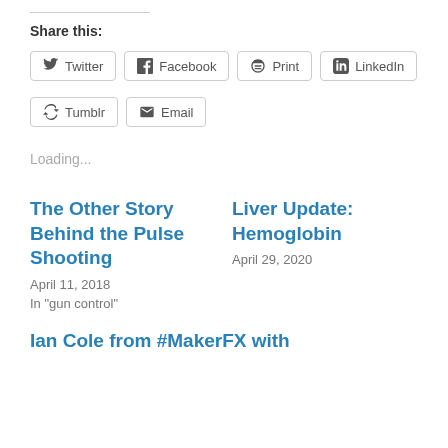Share this:
Twitter
Facebook
Print
LinkedIn
Tumblr
Email
Loading...
The Other Story Behind the Pulse Shooting
April 11, 2018
In "gun control"
Liver Update: Hemoglobin
April 29, 2020
Ian Cole from #MakerFX with